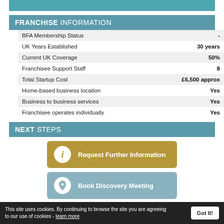[Figure (other): Teal decorative bar at top]
FRANCHISE INFORMATION
|  |  |
| --- | --- |
| BFA Membership Status | - |
| UK Years Established | 30 years |
| Current UK Coverage | 50% |
| Franchisee Support Staff | 8 |
| Total Startup Cost | £6,500 approx |
| Home-based business location | Yes |
| Business to business services | Yes |
| Franchisee operates individually | Yes |
NEXT STEPS
[Figure (other): Gold button: Request Further Information]
[Figure (other): Teal button: Book Discovery Meeting]
This site uses cookies. By continuing to browse the site you are agreeing to our use of cookies - learn more